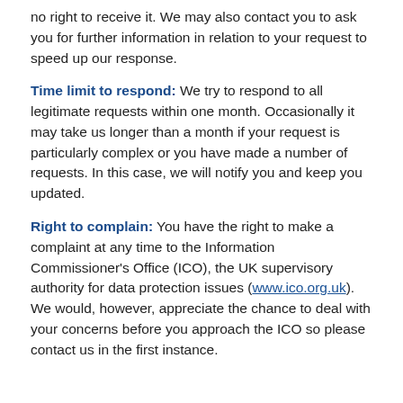no right to receive it. We may also contact you to ask you for further information in relation to your request to speed up our response.
Time limit to respond: We try to respond to all legitimate requests within one month. Occasionally it may take us longer than a month if your request is particularly complex or you have made a number of requests. In this case, we will notify you and keep you updated.
Right to complain: You have the right to make a complaint at any time to the Information Commissioner's Office (ICO), the UK supervisory authority for data protection issues (www.ico.org.uk). We would, however, appreciate the chance to deal with your concerns before you approach the ICO so please contact us in the first instance.